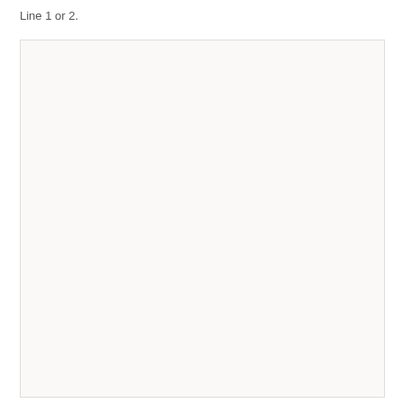Line 1 or 2.
[Figure (other): A large light beige/off-white empty rectangular box with a thin border.]